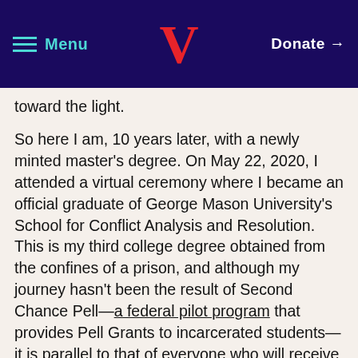Menu | V | Donate →
toward the light.
So here I am, 10 years later, with a newly minted master's degree. On May 22, 2020, I attended a virtual ceremony where I became an official graduate of George Mason University's School for Conflict Analysis and Resolution. This is my third college degree obtained from the confines of a prison, and although my journey hasn't been the result of Second Chance Pell—a federal pilot program that provides Pell Grants to incarcerated students—it is parallel to that of everyone who will receive the important benefits access to Pell Grants may provide. In the facility where I obtained my education, I witnessed dozens of men journey through that same murky space I climbed out of, all under the umbrella of Second